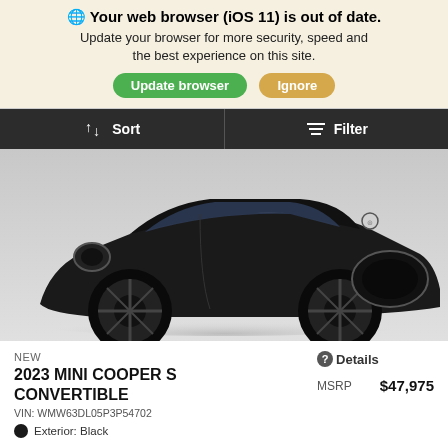🌐 Your web browser (iOS 11) is out of date. Update your browser for more security, speed and the best experience on this site. [Update browser] [Ignore]
[Figure (screenshot): Dark navigation bar with Sort and Filter buttons]
[Figure (photo): 2023 MINI Cooper S Convertible in black, front three-quarter view on gray background]
NEW
2023 MINI COOPER S CONVERTIBLE
VIN: WMW63DL05P3P54702
Exterior: Black
❷Details
MSRP
$47,975